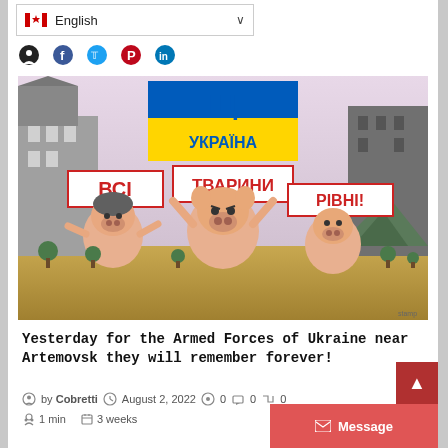English (language selector with Canadian flag)
[Figure (illustration): Political cartoon showing pig-like humanoid figures in an urban warzone setting. A Ukrainian flag with trident emblem and text 'УКРАЇНА' is displayed at top center. Banners in Ukrainian read 'ВСІ ТВАРИНИ РІВНІ!' (All animals are equal!). Multiple pig characters are depicted in various poses amid a destroyed city background.]
Yesterday for the Armed Forces of Ukraine near Artemovsk they will remember forever!
by Cobretti  August 2, 2022  0  0  0
1 min  3 weeks